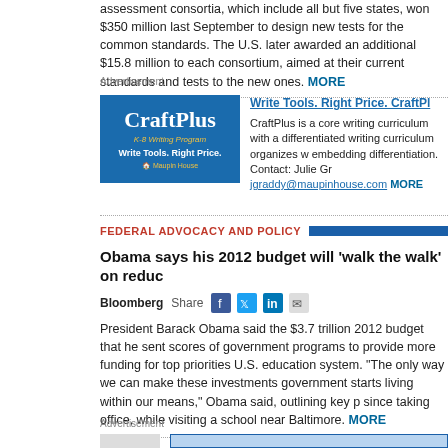assessment consortia, which include all but five states, won $350 million last September to design new tests for the common standards. The U.S. later awarded an additional $15.8 million to each consortium, aimed at their current standards and tests to the new ones. MORE
Advertisement
[Figure (logo): CraftPlus K-8 Writing Program advertisement with blue background]
Write Tools. Right Price. CraftPlus is a core writing curriculum with a differentiated writing curriculum organizes w embedding differentiation. Contact: Julie Gr jgraddy@maupinhouse.com MORE
FEDERAL ADVOCACY AND POLICY
Obama says his 2012 budget will 'walk the walk' on reduc
Bloomberg Share
President Barack Obama said the $3.7 trillion 2012 budget that he sent scores of government programs to provide more funding for top priorities U.S. education system. "The only way we can make these investments government starts living within our means," Obama said, outlining key p since taking office, while visiting a school near Baltimore. MORE
Advertisement